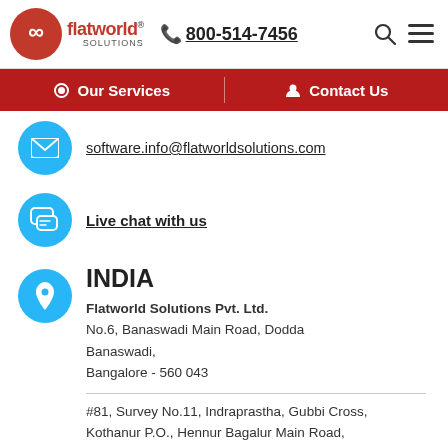[Figure (logo): Flatworld Solutions logo with red infinity symbol and company name, phone number 800-514-7456, search and menu icons]
Our Services | Contact Us
[Figure (logo): Blue circle with envelope icon]
software.info@flatworldsolutions.com
[Figure (logo): Blue circle with chat bubble icon]
Live chat with us
[Figure (logo): Blue circle with location pin icon]
INDIA
Flatworld Solutions Pvt. Ltd.
No.6, Banaswadi Main Road, Dodda Banaswadi,
Bangalore - 560 043
#81, Survey No.11, Indraprastha, Gubbi Cross, Kothanur P.O., Hennur Bagalur Main Road, Bangalore - 560 077